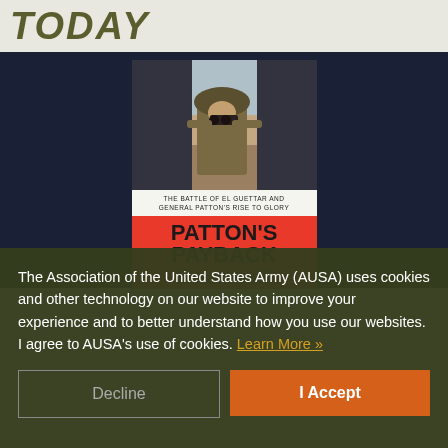TODAY
[Figure (photo): Book cover for 'Patton's Payback' by Stephen L. Moore — The Battle of El Guettar and General Patton's Rise to Glory. Cover shows a WWII soldier looking through binoculars, with red background and bold black title text.]
The Association of the United States Army (AUSA) uses cookies and other technology on our website to improve your experience and to better understand how you use our websites. I agree to AUSA's use of cookies. Learn More »
Decline
I Accept